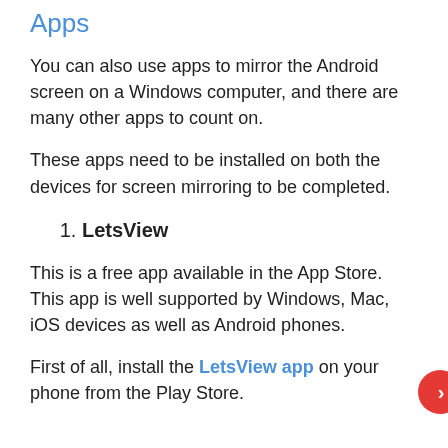Apps
You can also use apps to mirror the Android screen on a Windows computer, and there are many other apps to count on.
These apps need to be installed on both the devices for screen mirroring to be completed.
1. LetsView
This is a free app available in the App Store. This app is well supported by Windows, Mac, iOS devices as well as Android phones.
First of all, install the LetsView app on your phone from the Play Store.